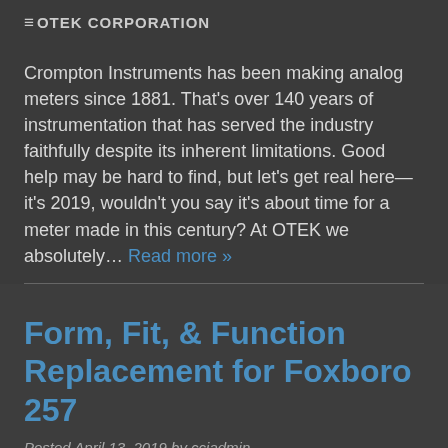OTEK CORPORATION
Crompton Instruments has been making analog meters since 1881. That's over 140 years of instrumentation that has served the industry faithfully despite its inherent limitations. Good help may be hard to find, but let's get real here—it's 2019, wouldn't you say it's about time for a meter made in this century? At OTEK we absolutely… Read more »
Form, Fit, & Function Replacement for Foxboro 257
Posted April 13, 2019 by cciadmin